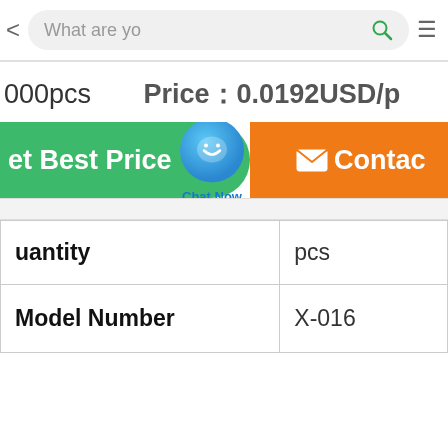[Figure (screenshot): Mobile app navigation bar with back arrow, search box showing 'What are you', search icon, and hamburger menu icon]
000pcs   Price0.0192USD/p
[Figure (screenshot): Two action buttons: green 'Get Best Price' button and orange 'Contact' button, with a blue 'Chat Now' floating bubble in between]
| uantity | pcs |
| Model Number | X-016 |